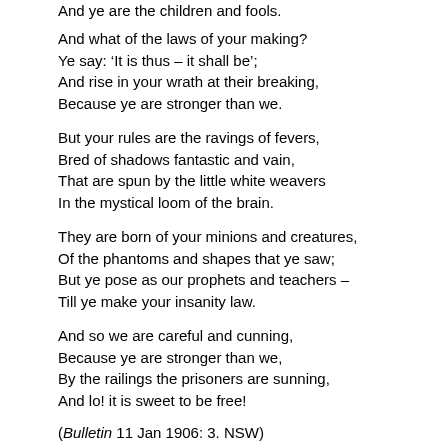And ye are the children and fools.
And what of the laws of your making?
    Ye say: ‘It is thus – it shall be’;
And rise in your wrath at their breaking,
    Because ye are stronger than we.
But your rules are the ravings of fevers,
    Bred of shadows fantastic and vain,
That are spun by the little white weavers
    In the mystical loom of the brain.
They are born of your minions and creatures,
    Of the phantoms and shapes that ye saw;
But ye pose as our prophets and teachers –
    Till ye make your insanity law.
And so we are careful and cunning,
    Because ye are stronger than we,
By the railings the prisoners are sunning,
    And lo! it is sweet to be free!
( Bulletin 11 Jan 1906: 3. NSW)
The poem is a masterpiece of inversions, moving from an outsi that separate them from the free world to the ‘we’ who are looki right by the right side of the you re railing at them ... The i